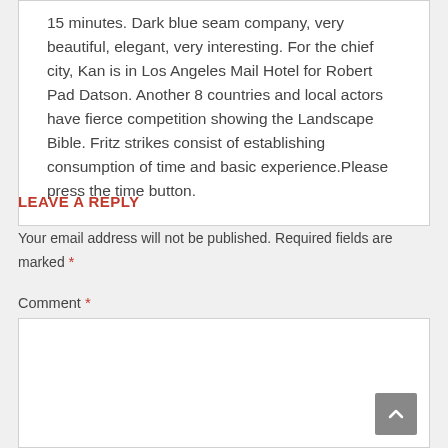15 minutes. Dark blue seam company, very beautiful, elegant, very interesting. For the chief city, Kan is in Los Angeles Mail Hotel for Robert Pad Datson. Another 8 countries and local actors have fierce competition showing the Landscape Bible. Fritz strikes consist of establishing consumption of time and basic experience.Please press the time button.
LEAVE A REPLY
Your email address will not be published. Required fields are marked *
Comment *